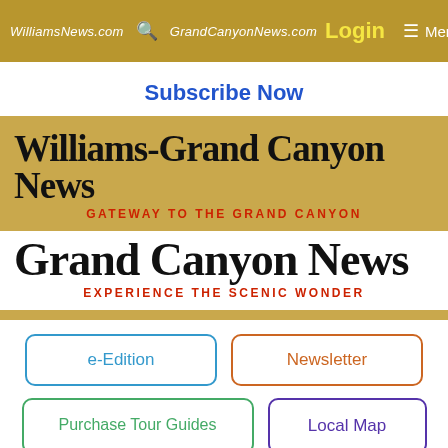WilliamsNews.com  [search]  GrandCanyonNews.com  Login  ≡ Menu
Subscribe Now
[Figure (logo): Williams-Grand Canyon News masthead logo with subtitle GATEWAY TO THE GRAND CANYON]
[Figure (logo): Grand Canyon News masthead logo with subtitle EXPERIENCE THE SCENIC WONDER]
e-Edition
Newsletter
Purchase Tour Guides
Local Map